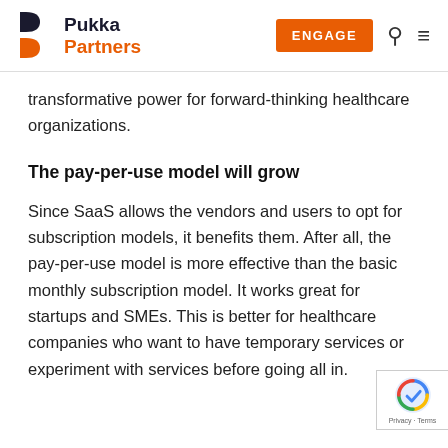Pukka Partners — ENGAGE
transformative power for forward-thinking healthcare organizations.
The pay-per-use model will grow
Since SaaS allows the vendors and users to opt for subscription models, it benefits them. After all, the pay-per-use model is more effective than the basic monthly subscription model. It works great for startups and SMEs. This is better for healthcare companies who want to have temporary services or experiment with services before going all in.